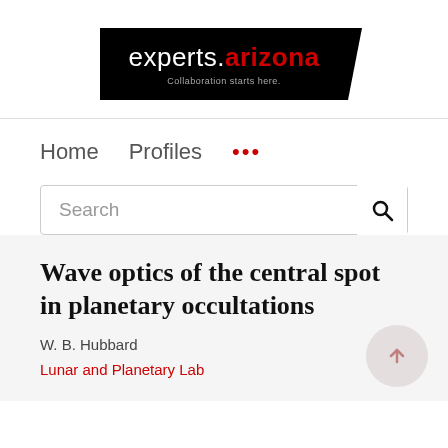[Figure (logo): experts.arizona logo with tagline 'Collaboration starts here.' on black background with angled corner cutout]
Home   Profiles   ...
Search
Wave optics of the central spot in planetary occultations
W. B. Hubbard
Lunar and Planetary Lab